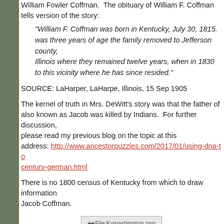William Fowler Coffman.  The obituary of William F. Coffman tells version of the story:
"William F. Coffman was born in Kentucky, July 30, 1815. When he was three years of age the family removed to Jefferson county, Illinois where they remained twelve years, when in 1830 removed to this vicinity where he has since resided."
SOURCE: LaHarper, LaHarpe, Illinois, 15 Sep 1905
The kernel of truth in Mrs. DeWitt's story was that the father of also known as Jacob was killed by Indians.  For further discussion please read my previous blog on the topic at this address: http://www.ancestorpuzzles.com/2017/01/using-dna-to century-german.html
There is no 1800 census of Kentucky from which to draw information Jacob Coffman.
[Figure (photo): Image placeholder: File:Kywashington.png]
Washington County, Kentucky shown in relation to adjacent counties